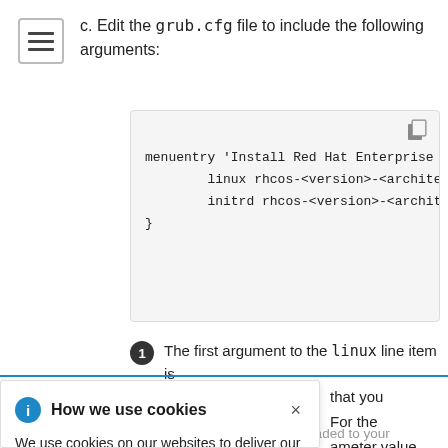c. Edit the grub.cfg file to include the following arguments:
[Figure (screenshot): Code block showing grub.cfg menuentry configuration with linux and initrd lines]
1 The first argument to the linux line item is
How we use cookies - cookie consent popup. We use cookies on our websites to deliver our online services. Details about how we use cookies and how you may disable them are set out in our Privacy Statement. By using this website you agree to our use of cookies.
ignition config file that you uploaded to your HTTP server.